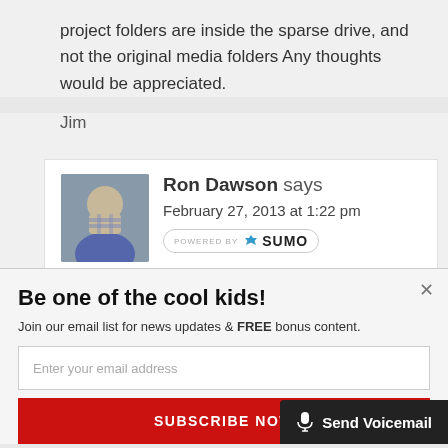project folders are inside the sparse drive, and not the original media folders Any thoughts would be appreciated.
Jim
Ron Dawson says
February 27, 2013 at 1:22 pm
[Figure (screenshot): POWERED BY SUMO badge]
Be one of the cool kids!
Join our email list for news updates & FREE bonus content.
Enter your email address
SUBSCRIBE NOW
Send Voicemail